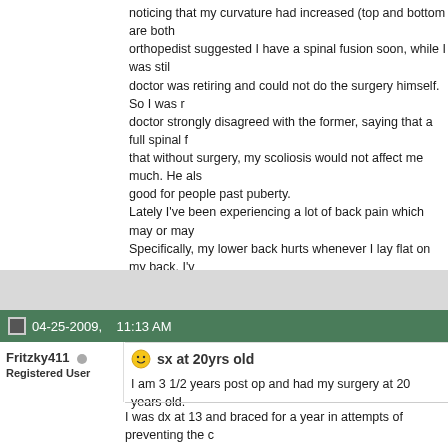noticing that my curvature had increased (top and bottom are both orthopedist suggested I have a spinal fusion soon, while I was still doctor was retiring and could not do the surgery himself. So I was doctor strongly disagreed with the former, saying that a full spinal f that without surgery, my scoliosis would not affect me much. He als good for people past puberty. Lately I've been experiencing a lot of back pain which may or may Specifically, my lower back hurts whenever I lay flat on my back. I' of sharp pain in my mid back, to the left of my spine. I want to see another doctor for a third opinion and to have my curv college. I just want to hear some of your stories if you've had a spi symptoms, and how the surgery has affected you
04-25-2009,    11:13 AM
Fritzky411
Registered User
sx at 20yrs old
I am 3 1/2 years post op and had my surgery at 20 years old.
I was dx at 13 and braced for a year in attempts of preventing the c work. My first Dr wanted to avoid sx at all costs, but after years of f sent to a second Ortho who ordered surgery on my first visit. The w